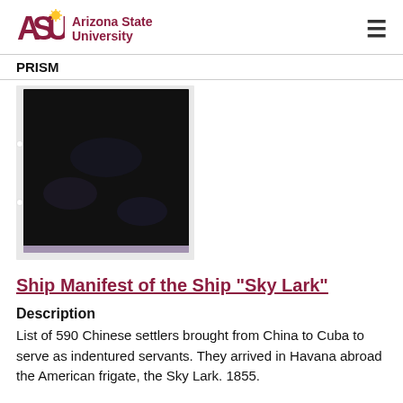ASU Arizona State University | PRISM
[Figure (photo): Dark/black scanned document image, likely a ship manifest page, stored in a protective sleeve with visible punch holes on the left side.]
Ship Manifest of the Ship "Sky Lark"
Description
List of 590 Chinese settlers brought from China to Cuba to serve as indentured servants. They arrived in Havana abroad the American frigate, the Sky Lark. 1855.